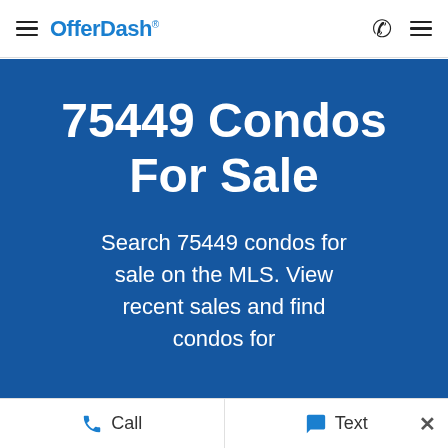OfferDash
75449 Condos For Sale
Search 75449 condos for sale on the MLS. View recent sales and find condos for
Call   Text